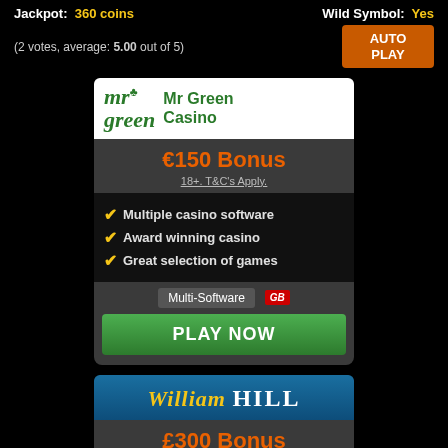Jackpot: 360 coins
Wild Symbol: Yes
(2 votes, average: 5.00 out of 5)
[Figure (other): AUTO PLAY button, orange rectangle]
[Figure (other): Mr Green Casino promotional card with €150 Bonus, features list, and PLAY NOW button]
[Figure (other): William Hill Casino promotional card with £300 Bonus]